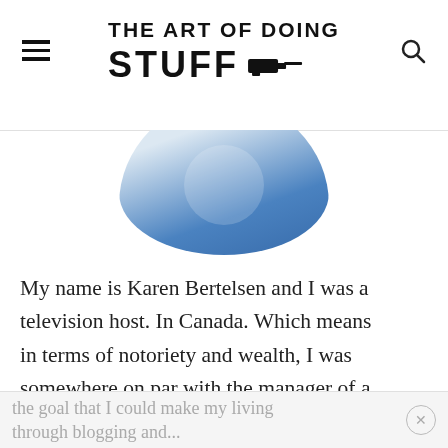THE ART OF DOING STUFF
[Figure (photo): Circular cropped photo showing a person in a blue top, partially visible at the top of the page]
My name is Karen Bertelsen and I was a television host. In Canada. Which means in terms of notoriety and wealth, I was somewhere on par with the manager of a Sunset Tan in Wisconsin.
I quit television to start a blog with
the goal that I could make my living through blogging and...